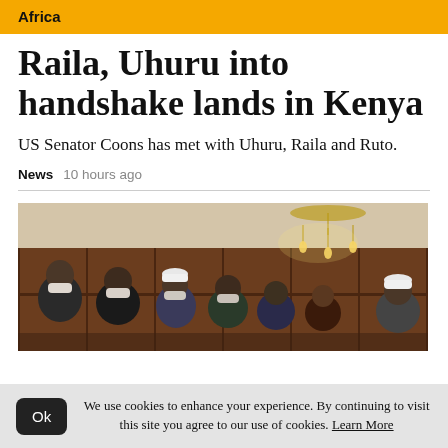Africa
Raila, Uhuru into handshake lands in Kenya
US Senator Coons has met with Uhuru, Raila and Ruto.
News   10 hours ago
[Figure (photo): Group of people in a wood-panelled room with a chandelier; several wearing face masks.]
We use cookies to enhance your experience. By continuing to visit this site you agree to our use of cookies. Learn More